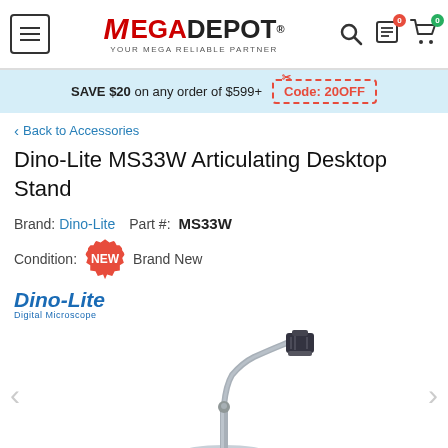MegaDepot - Your Mega Reliable Partner
SAVE $20 on any order of $599+ Code: 20OFF
< Back to Accessories
Dino-Lite MS33W Articulating Desktop Stand
Brand: Dino-Lite  Part #: MS33W
Condition: NEW Brand New
[Figure (logo): Dino-Lite Digital Microscope brand logo in blue italic text]
[Figure (photo): Dino-Lite MS33W Articulating Desktop Stand - silver flexible gooseneck stand with clamp mount head, shown against white background]